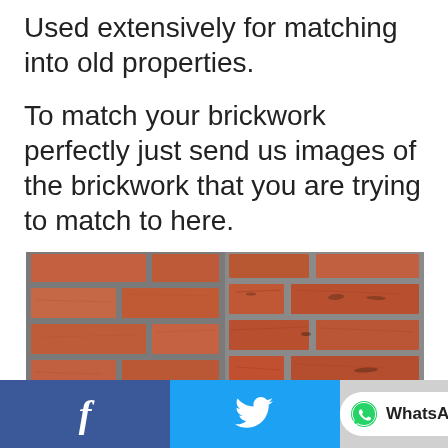Used extensively for matching into old properties. To match your brickwork perfectly just send us images of the brickwork that you are trying to match to here.
[Figure (photo): Side-by-side photo of two close-up views of red brick walls with grey mortar joints, showing brick texture for matching purposes.]
Facebook share button | Twitter share button | WhatsApp button